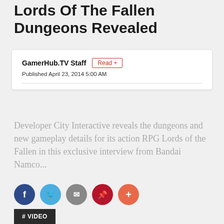Lords Of The Fallen Dungeons Revealed
GamerHub.TV Staff  Read +
Published April 23, 2014 5:00 AM
Developer City Interactive reveals the dungeons and new gameplay details for its action RPG Lords of the Fallen in this exclusive interview from Bandai Namco...
[Figure (infographic): Social sharing buttons: Facebook (dark blue), Twitter (light blue), Email (gray), Pinterest (dark red), More (orange-red circles)]
# VIDEO